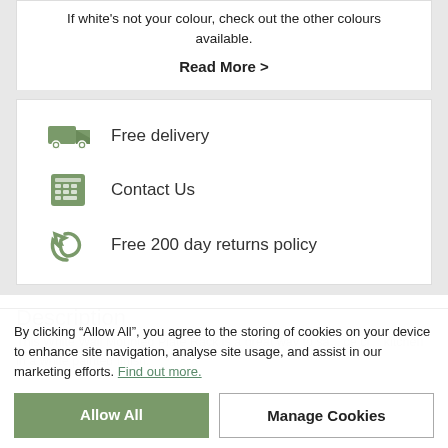If white's not your colour, check out the other colours available.
Read More >
Free delivery
Contact Us
Free 200 day returns policy
Description
This White Wall Mounted Plate Rack is a great way to sa... ce cr... kitchen in a white painted finish.
By clicking “Allow All”, you agree to the storing of cookies on your device to enhance site navigation, analyse site usage, and assist in our marketing efforts. Find out more.
Allow All
Manage Cookies